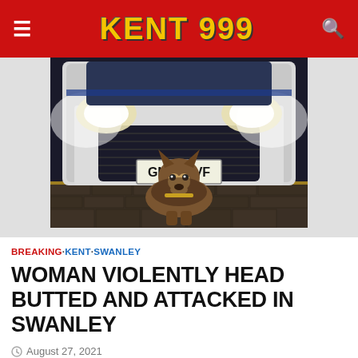KENT 999
[Figure (photo): Police German Shepherd dog sitting in front of a white police car with license plate GN70 DVF, photographed at night]
BREAKING · KENT · SWANLEY
WOMAN VIOLENTLY HEAD BUTTED AND ATTACKED IN SWANLEY
August 27, 2021
Witnesses are sought following allegations a